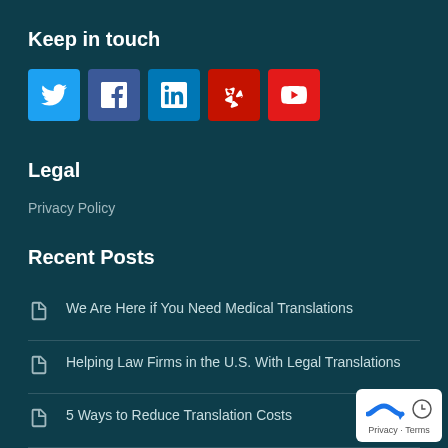Keep in touch
[Figure (other): Social media icon buttons: Twitter (blue), Facebook (blue), LinkedIn (blue), Yelp (red), YouTube (red)]
Legal
Privacy Policy
Recent Posts
We Are Here if You Need Medical Translations
Helping Law Firms in the U.S. With Legal Translations
5 Ways to Reduce Translation Costs
Why You Won’t Be Able to Buy a Property in Germany Without German Translation Services